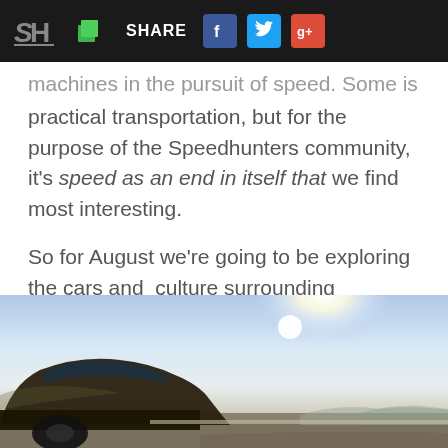SH | [share icons] SHARE [Facebook] [Twitter] [Google+]
machines in the pursuit of speed. Some is for practical transportation, but for the purpose of the Speedhunters community, it's speed as an end in itself that we find most interesting.

So for August we're going to be exploring the cars and  culture surrounding maximum velocity… this month is Speed month.
[Figure (photo): Partial view of a yellow/dark car from a low angle against a bright sky with sun glare and flat landscape in the background]